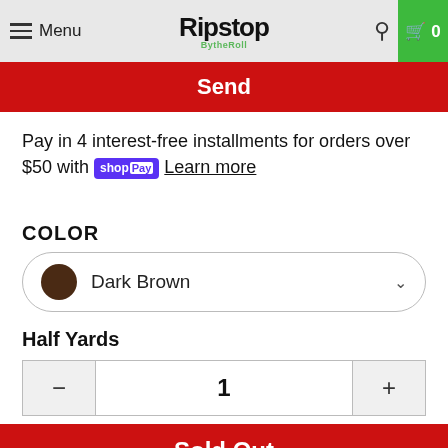Menu | Ripstop By the Roll | 0
Send
Pay in 4 interest-free installments for orders over $50 with shopPay Learn more
COLOR
Dark Brown
Half Yards
1
Sold Out